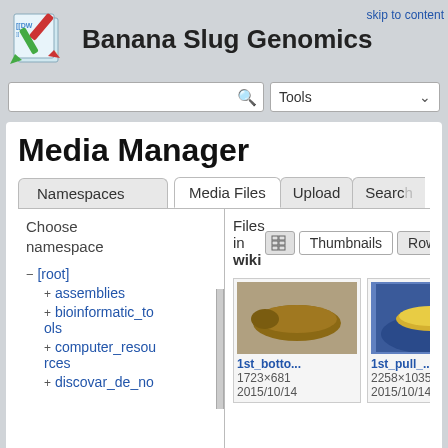Banana Slug Genomics
skip to content
Media Manager
Namespaces
Media Files  Upload  Search
Choose namespace
Files in wiki
Thumbnails  Rows
− [root]
+ assemblies
+ bioinformatic_tools
+ computer_resources
+ discovar_de_no
[Figure (photo): Thumbnail of 1st_botto... showing a banana slug from above, brownish color]
1st_botto...
1723×681
2015/10/14
[Figure (photo): Thumbnail of 1st_pull_... showing a yellow banana slug being held]
1st_pull_...
2258×1035
2015/10/14
[Figure (photo): Partial thumbnail of a third image starting with '1s']